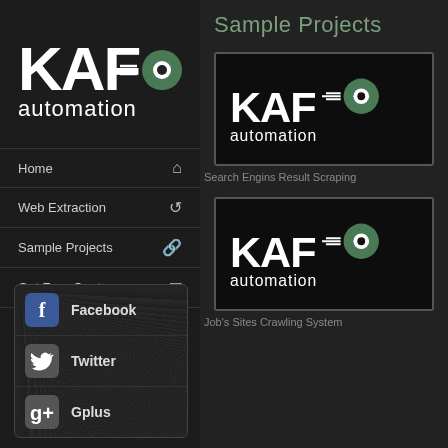[Figure (logo): KAF Automation logo - white bold KAF text with gear icon, 'automation' text below]
Home
Web Extraction
Sample Projects
Get Free Quote
Facebook
Twitter
Gplus
Sample Projects
[Figure (logo): KAF Automation logo on dark background - project thumbnail for Search Engins Result Scraping]
Search Engins Result Scraping
[Figure (logo): KAF Automation logo on dark background - project thumbnail for Job's Sites Crawling System]
Job's Sites Crawling System